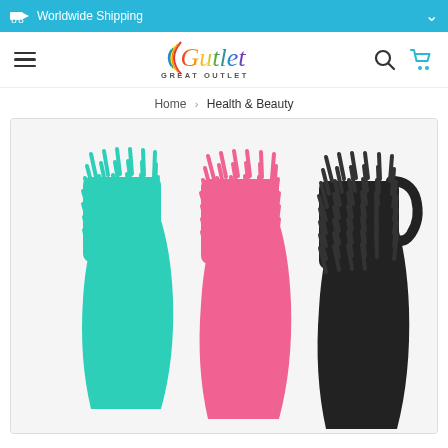Worldwide Shipping
[Figure (logo): Gutlet Great Outlet logo with rainbow script text and subtitle]
Home › Health & Beauty
[Figure (photo): Three detangling hair brushes in teal/green, pink, and black colors displayed side by side on white background]